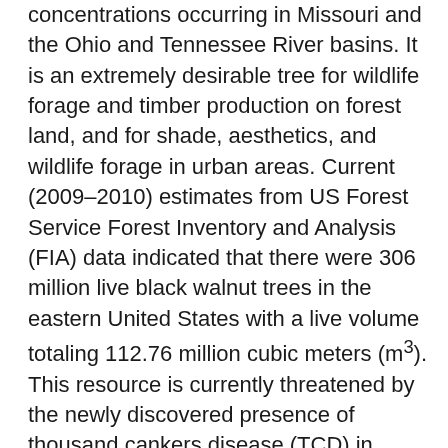concentrations occurring in Missouri and the Ohio and Tennessee River basins. It is an extremely desirable tree for wildlife forage and timber production on forest land, and for shade, aesthetics, and wildlife forage in urban areas. Current (2009–2010) estimates from US Forest Service Forest Inventory and Analysis (FIA) data indicated that there were 306 million live black walnut trees in the eastern United States with a live volume totaling 112.76 million cubic meters (m³). This resource is currently threatened by the newly discovered presence of thousand cankers disease (TCD) in Pennsylvania, Tennessee, and Virginia. Thousand cankers disease may have been present in these areas for at least 10 years prior to discovery; however, no evidence of TCD in the forest at large was apparent in the crown condition and mortality data collected by FIA between 2000 and 2010. During this time period black walnut crown conditions were within the range of what is typically considered normal and healthy for hardwood trees and dead black